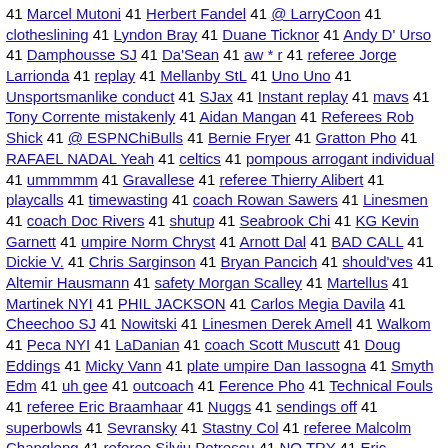41 Marcel Mutoni 41 Herbert Fandel 41 @ LarryCoon 41 clotheslining 41 Lyndon Bray 41 Duane Ticknor 41 Andy D' Urso 41 Damphousse SJ 41 Da'Sean 41 aw * r 41 referee Jorge Larrionda 41 replay 41 Mellanby StL 41 Uno Uno 41 Unsportsmanlike conduct 41 SJax 41 Instant replay 41 mavs 41 Tony Corrente mistakenly 41 Aidan Mangan 41 Referees Rob Shick 41 @ ESPNChiBulls 41 Bernie Fryer 41 Gratton Pho 41 RAFAEL NADAL Yeah 41 celtics 41 pompous arrogant individual 41 ummmmm 41 Gravallese 41 referee Thierry Alibert 41 playcalls 41 timewasting 41 coach Rowan Sawers 41 Linesmen 41 coach Doc Rivers 41 shutup 41 Seabrook Chi 41 KG Kevin Garnett 41 umpire Norm Chryst 41 Arnott Dal 41 BAD CALL 41 Dickie V. 41 Chris Sarginson 41 Bryan Pancich 41 should'ves 41 Altemir Hausmann 41 safety Morgan Scalley 41 Martellus 41 Martinek NYI 41 PHIL JACKSON 41 Carlos Megia Davila 41 Cheechoo SJ 41 Nowitski 41 Linesmen Derek Amell 41 Walkom 41 Peca NYI 41 LaDanian 41 coach Scott Muscutt 41 Doug Eddings 41 Micky Vann 41 plate umpire Dan Iassogna 41 Smyth Edm 41 uh gee 41 outcoach 41 Ference Pho 41 Technical Fouls 41 referee Eric Braamhaar 41 Nuggs 41 sendings off 41 superbowls 41 Sevransky 41 Stastny Col 41 referee Malcolm Changleng 41 referee Silviu Petrescu 41 NO TRY 41 Eric Braamhaar 41 coach Doug Wojcik 41 Spezza Ott 41 referee Grant Hegley 41 Referee Dick Bavetta 41 LeBron Kobe 41 Uefa 41 superpest 41 Kovalchuk Atl 41 Benquerenca 41 CHAUNCEY BILLUPS 41 referee Matt